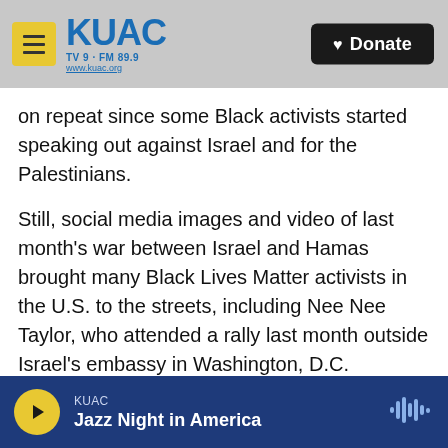KUAC TV9 · FM 89.9 www.kuac.org — Donate
on repeat since some Black activists started speaking out against Israel and for the Palestinians.
Still, social media images and video of last month's war between Israel and Hamas brought many Black Lives Matter activists in the U.S. to the streets, including Nee Nee Taylor, who attended a rally last month outside Israel's embassy in Washington, D.C.
"Palestine's struggle is our struggle," said Taylor, who had organized with BLM's D.C. chapter before
KUAC — Jazz Night in America